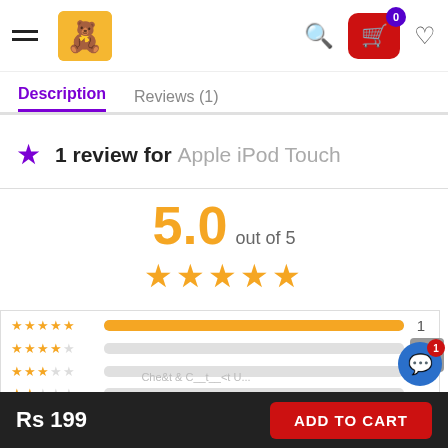Header with hamburger menu, logo, search, cart (0), and heart icons
Description | Reviews (1)
1 review for Apple iPod Touch
5.0 out of 5
[Figure (other): 5-star rating display with bar chart. 5-star row: full bar, count 1. 4-star row: empty bar, count 0. 3-star row: empty bar, count 0. 2-star row: empty bar, count 0.]
Rs 199 | ADD TO CART